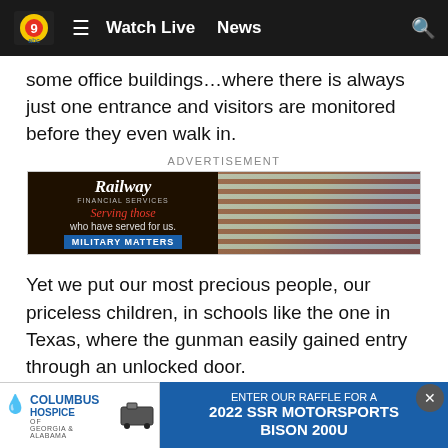Watch Live  News
some office buildings…where there is always just one entrance and visitors are monitored before they even walk in.
[Figure (infographic): Railway advertisement banner: 'Serving those who have served for us. MILITARY MATTERS' with soldier and flag imagery.]
Yet we put our most precious people, our priceless children, in schools like the one in Texas, where the gunman easily gained entry through an unlocked door.
Apparently, no one even saw him coming.
One co... says th...
[Figure (infographic): Columbus Hospice and SSR Motorsports raffle advertisement banner at bottom of page.]